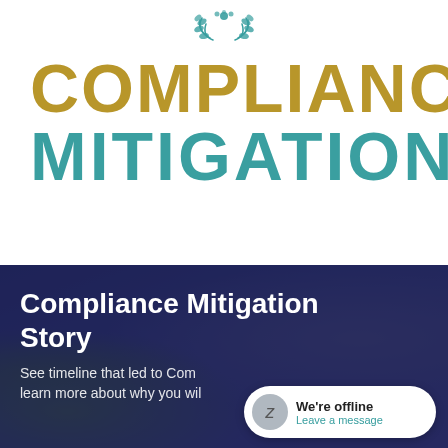[Figure (logo): Decorative teal laurel wreath emblem at top of page]
COMPLIANCE MITIGATION
[Figure (photo): Dark navy/purple overlay background with office scene showing plants and a laptop]
Compliance Mitigation Story
See timeline that led to Com... learn more about why you wil...
[Figure (screenshot): Chat widget overlay showing We're offline and Leave a message link]